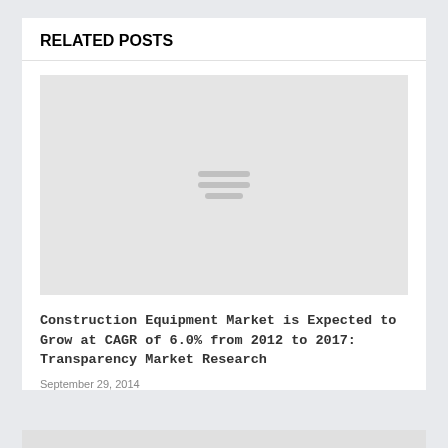RELATED POSTS
[Figure (illustration): Gray placeholder thumbnail image with a hamburger/menu icon in the center]
Construction Equipment Market is Expected to Grow at CAGR of 6.0% from 2012 to 2017: Transparency Market Research
September 29, 2014